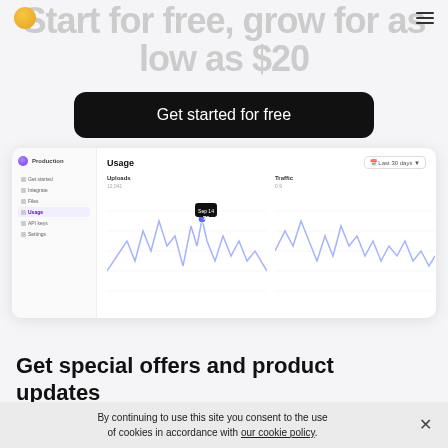Navigation bar with logo and hamburger menu
Start for free, grow for as low as $20
Get started for free
[Figure (screenshot): Dashboard screenshot showing Usage page with Uploads and Traffic line charts for the last 30 days. Sidebar shows navigation items: Get started, Integrate, Files, Usage, API keys, Settings.]
Get special offers and product updates
By continuing to use this site you consent to the use of cookies in accordance with our cookie policy.